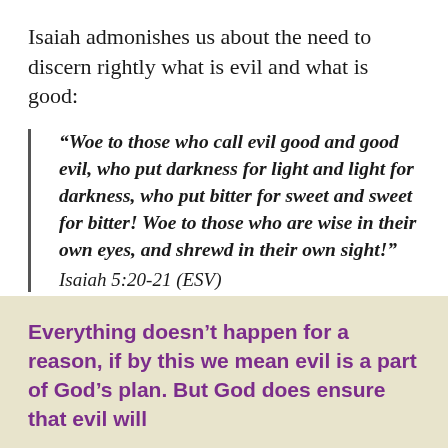Isaiah admonishes us about the need to discern rightly what is evil and what is good:
“Woe to those who call evil good and good evil, who put darkness for light and light for darkness, who put bitter for sweet and sweet for bitter! Woe to those who are wise in their own eyes, and shrewd in their own sight!” Isaiah 5:20-21 (ESV)
Everything doesn’t happen for a reason, if by this we mean evil is a part of God’s plan. But God does ensure that evil will